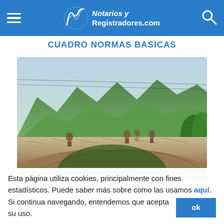Notarios y Registradores.com
CUADRO NORMAS BASICAS
[Figure (photo): Photo of people walking on an old stone arch bridge with green mountains in the background and trees on the right side.]
Esta página utiliza cookies, principalmente con fines estadísticos. Puede saber más sobre como las usamos aquí. Si continua navegando, entendemos que acepta su uso. ok